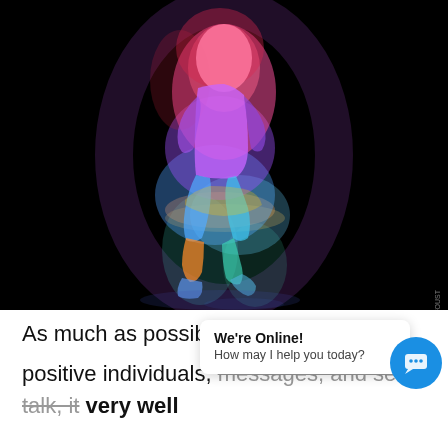[Figure (illustration): A glowing human figure in running/jogging pose against a black background, with a rainbow spectrum of colors from pink/red at the top through purple and blue in the middle to orange and green at the lower body, suggesting energy or heat mapping of the body.]
As much as possible … el … positive individuals, messages, and self-talk, it very well
We're Online! How may I help you today?